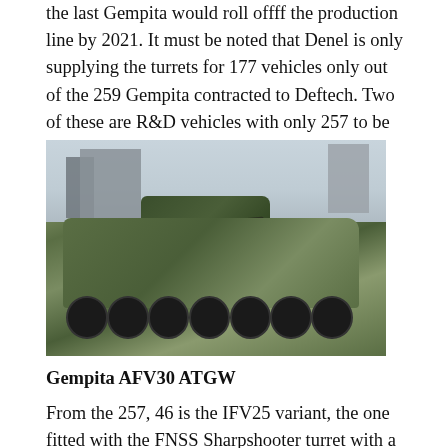the last Gempita would roll off the production line by 2021. It must be noted that Denel is only supplying the turrets for 177 vehicles only out of the 259 Gempita contracted to Deftech. Two of these are R&D vehicles with only 257 to be put into service
[Figure (photo): A Gempita AFV30 ATGW armored fighting vehicle in camouflage paint during a parade or public display, with a soldier visible in the turret hatch, city buildings visible in the background.]
Gempita AFV30 ATGW
From the 257, 46 is the IFV25 variant, the one fitted with the FNSS Sharpshooter turret with a 25 mm ATK M242 cannon and FN MAG 7.62 mm machinegun. The other 34 is likely to be